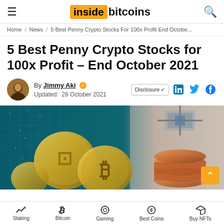inside bitcoins
Home / News / 5 Best Penny Crypto Stocks For 100x Profit End Octobe...
5 Best Penny Crypto Stocks for 100x Profit – End October 2021
By Jimmy Aki  Updated: 28 October 2021
[Figure (photo): Hero image showing golden cryptocurrency coins (Bitcoin and Dash) against a teal digital background on the left, and stacked copper penny coins on a white background with satellite imagery on the right.]
Staking  Bitcoin  Gaming  Best Coins  Buy NFTs